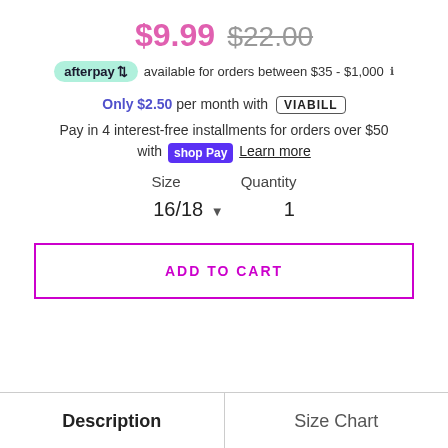$9.99 $22.00
afterpay available for orders between $35 - $1,000 ℹ
Only $2.50 per month with VIABILL
Pay in 4 interest-free installments for orders over $50 with shop Pay Learn more
Size    Quantity
16/18 ▾    1
ADD TO CART
Description    Size Chart